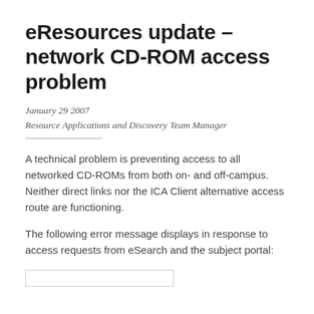eResources update – network CD-ROM access problem
January 29 2007
Resource Applications and Discovery Team Manager
A technical problem is preventing access to all networked CD-ROMs from both on- and off-campus. Neither direct links nor the ICA Client alternative access route are functioning.
The following error message displays in response to access requests from eSearch and the subject portal:
[Figure (screenshot): Partial view of an error message box, cut off at the bottom of the page]